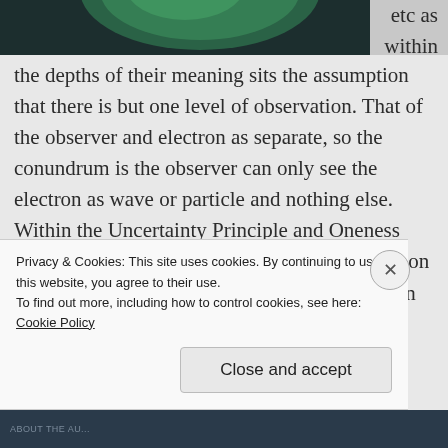[Figure (photo): Partial top image showing a dark background with a green circular/spherical object, cropped at top]
etc as within the depths of their meaning sits the assumption that there is but one level of observation. That of the observer and electron as separate, so the conundrum is the observer can only see the electron as wave or particle and nothing else. Within the Uncertainty Principle and Oneness exists the real question that there is no distinction between observer and electron, like the electron the observer is both wave and particle — a li...
Privacy & Cookies: This site uses cookies. By continuing to use this website, you agree to their use.
To find out more, including how to control cookies, see here: Cookie Policy
Close and accept
ABOUT THE AU...